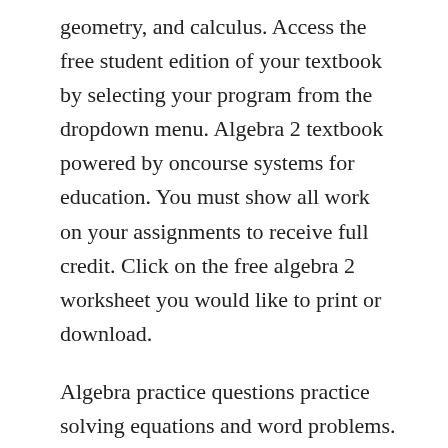geometry, and calculus. Access the free student edition of your textbook by selecting your program from the dropdown menu. Algebra 2 textbook powered by oncourse systems for education. You must show all work on your assignments to receive full credit. Click on the free algebra 2 worksheet you would like to print or download.
Algebra practice questions practice solving equations and word problems. If you disagree with this solutions manual you should check with your instructor. This book is written in